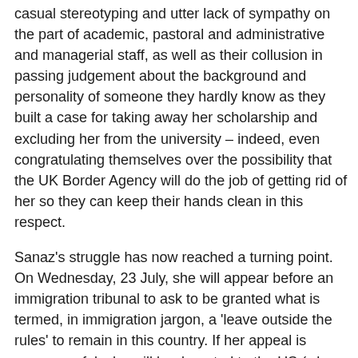casual stereotyping and utter lack of sympathy on the part of academic, pastoral and administrative and managerial staff, as well as their collusion in passing judgement about the background and personality of someone they hardly know as they built a case for taking away her scholarship and excluding her from the university – indeed, even congratulating themselves over the possibility that the UK Border Agency will do the job of getting rid of her so they can keep their hands clean in this respect.
Sanaz's struggle has now reached a turning point. On Wednesday, 23 July, she will appear before an immigration tribunal to ask to be granted what is termed, in immigration jargon, a 'leave outside the rules' to remain in this country. If her appeal is unsuccessful, she will be deported to the US (where she has no sources of financial or family support) and will no longer be able to pursue her case against the University of Leeds. Her promising career as an academic will be all but destroyed. If she is allowed to stay on the other hand, she will able to clear her name and take the university of her along to a fight which badly amounts to a similar